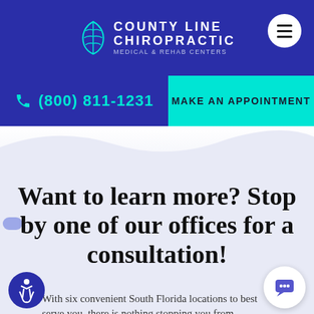[Figure (logo): County Line Chiropractic Medical & Rehab Centers logo with leaf/feather graphic on navy background]
(800) 811-1231
MAKE AN APPOINTMENT
[Figure (illustration): Light lavender/blue wave shape hero background area]
Want to learn more? Stop by one of our offices for a consultation!
With six convenient South Florida locations to best serve you, there is nothing stopping you from